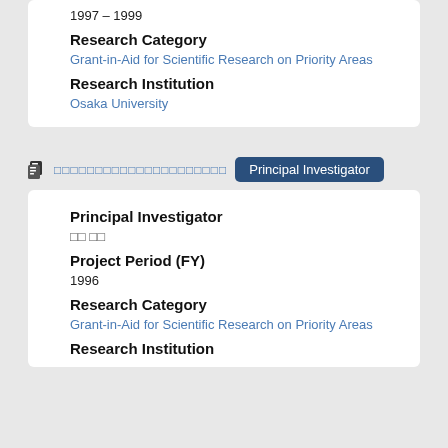1997 – 1999
Research Category
Grant-in-Aid for Scientific Research on Priority Areas
Research Institution
Osaka University
□□ □□  Principal Investigator
Principal Investigator
□□ □□
Project Period (FY)
1996
Research Category
Grant-in-Aid for Scientific Research on Priority Areas
Research Institution